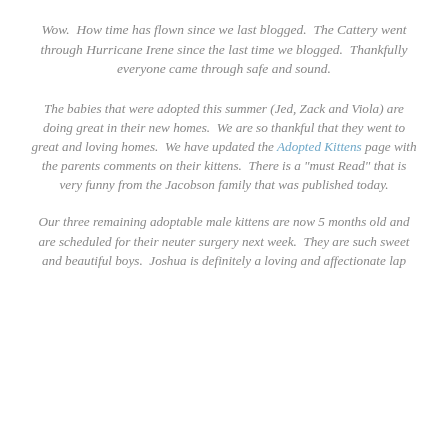Wow.  How time has flown since we last blogged.  The Cattery went through Hurricane Irene since the last time we blogged.  Thankfully everyone came through safe and sound.
The babies that were adopted this summer (Jed, Zack and Viola) are doing great in their new homes.  We are so thankful that they went to great and loving homes.  We have updated the Adopted Kittens page with the parents comments on their kittens.  There is a "must Read" that is very funny from the Jacobson family that was published today.
Our three remaining adoptable male kittens are now 5 months old and are scheduled for their neuter surgery next week.  They are such sweet and beautiful boys.  Joshua is definitely a loving and affectionate lap...